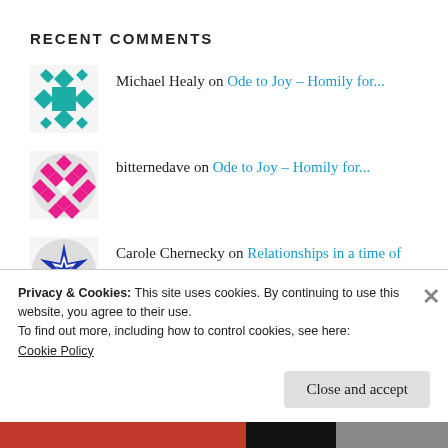RECENT COMMENTS
Michael Healy on Ode to Joy – Homily for...
bitternedave on Ode to Joy – Homily for...
Carole Chernecky on Relationships in a time of cri...
(partial, cut off)
Privacy & Cookies: This site uses cookies. By continuing to use this website, you agree to their use.
To find out more, including how to control cookies, see here:
Cookie Policy
Close and accept